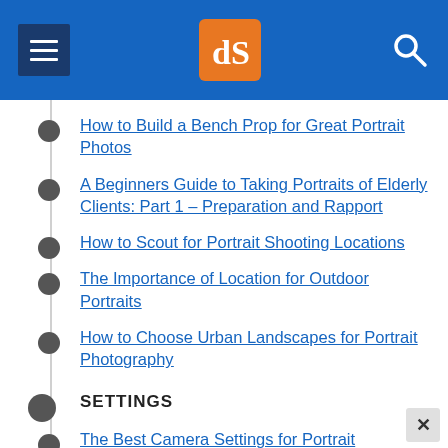[Figure (screenshot): Website navigation header bar with hamburger menu icon on left, dPS logo (orange square with white dP symbol) in center, and search icon on right, all on blue background]
How to Build a Bench Prop for Great Portrait Photos
A Beginners Guide to Taking Portraits of Elderly Clients: Part 1 – Preparation and Rapport
How to Scout for Portrait Shooting Locations
The Importance of Location for Outdoor Portraits
How to Choose Urban Landscapes for Portrait Photography
SETTINGS
The Best Camera Settings for Portrait